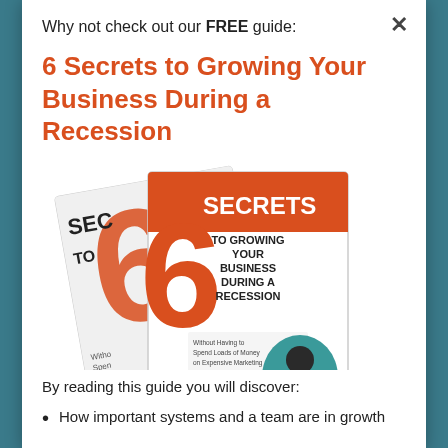Why not check out our FREE guide:
6 Secrets to Growing Your Business During a Recession
[Figure (illustration): Two book covers showing '6 Secrets to Growing Your Business During a Recession' with orange number 6 and teal accent, author photo on front cover]
By reading this guide you will discover:
How important systems and a team are in growth